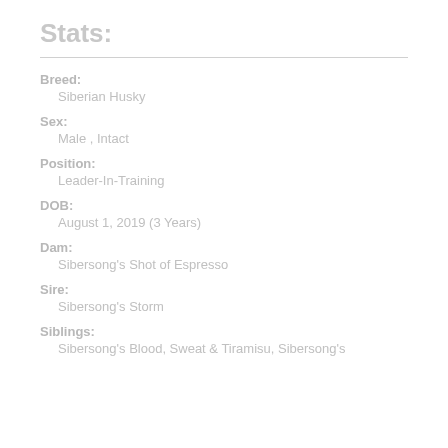Stats:
Breed:
Siberian Husky
Sex:
Male , Intact
Position:
Leader-In-Training
DOB:
August 1, 2019 (3 Years)
Dam:
Sibersong's Shot of Espresso
Sire:
Sibersong's Storm
Siblings:
Sibersong's Blood, Sweat & Tiramisu, Sibersong's